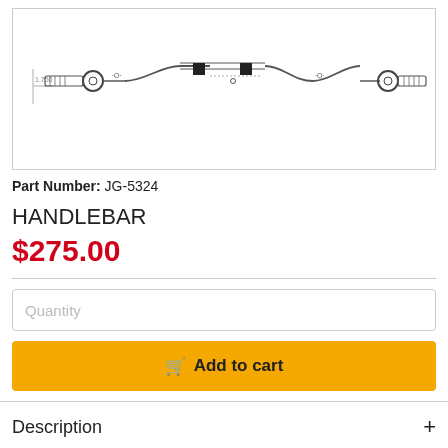[Figure (engineering-diagram): Technical line drawing of a handlebar part showing the elongated bar with mounting hardware, clamps, and curved section in the middle. A dimension marking of 1.750 is visible on the left end.]
Part Number: JG-5324
HANDLEBAR
$275.00
Quantity
Add to cart
Description